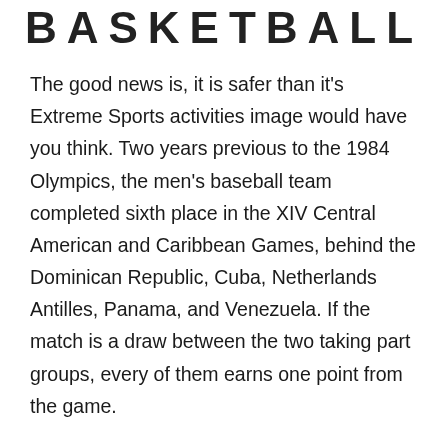BASKETBALL
The good news is, it is safer than it's Extreme Sports activities image would have you think. Two years previous to the 1984 Olympics, the men's baseball team completed sixth place in the XIV Central American and Caribbean Games, behind the Dominican Republic, Cuba, Netherlands Antilles, Panama, and Venezuela. If the match is a draw between the two taking part groups, every of them earns one point from the game.
Apart from the sports activities information, on-line sports sites additionally give the browser history on explicit sports activities, the origin of a sport and the fierce competition native groups and national teams face to be within the high spots. No extra can teams